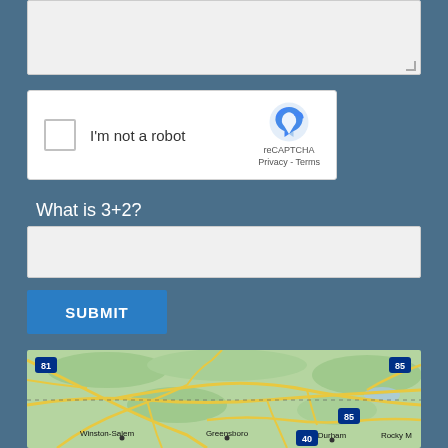[Figure (screenshot): Text area input box with resize indicator]
[Figure (screenshot): reCAPTCHA widget with checkbox labeled I'm not a robot]
What is 3+2?
[Figure (screenshot): Text input box for answering math question]
SUBMIT
[Figure (map): Google Maps view showing North Carolina region including Winston-Salem, Greensboro, Durham, Rocky Mount areas with interstate highways 81, 85, 40]